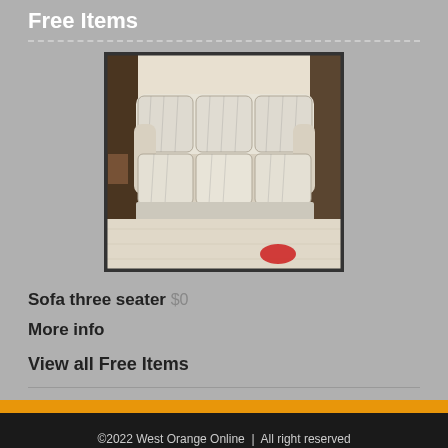Free Items
[Figure (photo): Photo of a beige three-seater sofa with dark stripe pattern, viewed from the front in a room setting]
Sofa three seater $0
More info
View all Free Items
©2022 West Orange Online  |  All right reserved
A WorldWebs Community    |    Help Center
Privacy Policy  |  Terms & Conditions